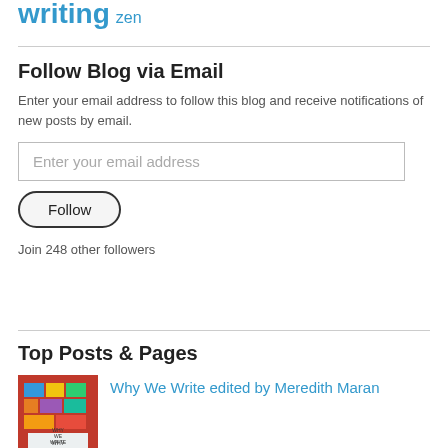writing zen
Follow Blog via Email
Enter your email address to follow this blog and receive notifications of new posts by email.
Enter your email address
Follow
Join 248 other followers
Top Posts & Pages
[Figure (photo): Book cover for 'Why We Write' edited by Meredith Maran, colorful patchwork design]
Why We Write edited by Meredith Maran